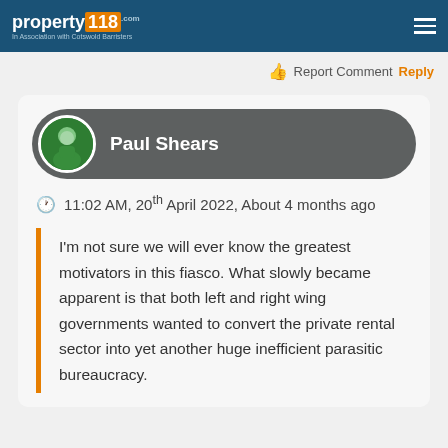property118.com | In Association with Cotswold Barristers
Report Comment Reply
Paul Shears
11:02 AM, 20th April 2022, About 4 months ago
I'm not sure we will ever know the greatest motivators in this fiasco. What slowly became apparent is that both left and right wing governments wanted to convert the private rental sector into yet another huge inefficient parasitic bureaucracy.